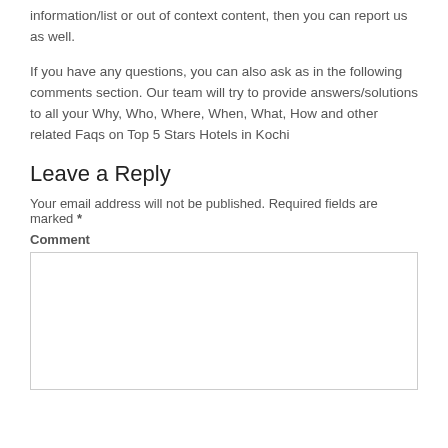information/list or out of context content, then you can report us as well.
If you have any questions, you can also ask as in the following comments section. Our team will try to provide answers/solutions to all your Why, Who, Where, When, What, How and other related Faqs on Top 5 Stars Hotels in Kochi
Leave a Reply
Your email address will not be published. Required fields are marked *
Comment